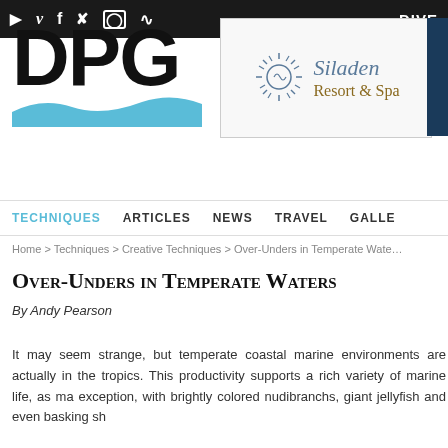Social media icons and DIVE navigation
[Figure (logo): DPG logo with black bold letters and blue wave underneath]
[Figure (illustration): Siladen Resort & Spa advertisement with sun logo, teal text for Siladen and brown text for Resort & Spa, dark underwater photo strip on right]
TECHNIQUES  ARTICLES  NEWS  TRAVEL  GALLE
Home > Techniques > Creative Techniques > Over-Unders in Temperate Wate
Over-Unders in Temperate Waters
By Andy Pearson
It may seem strange, but temperate coastal marine environments are actually in the tropics. This productivity supports a rich variety of marine life, as ma exception, with brightly colored nudibranchs, giant jellyfish and even basking sh